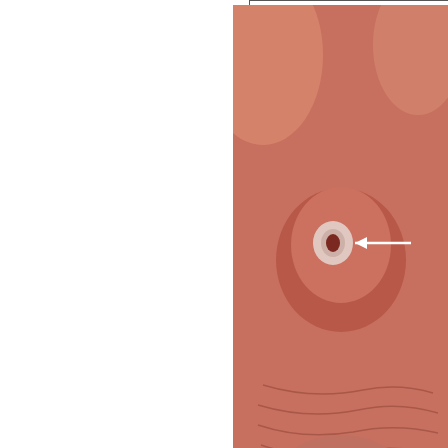[Figure (photo): Clinical photograph of glanular hypospadias showing the urethral meatus on the glans penis, with a white arrow pointing to the meatus. The image shows close-up view of the penile glans.]
Fig: Glanular Hyp...
Frequency
The incidence of... have their origin... Disease Control'... Americans. The incidence of... information from... children born in...